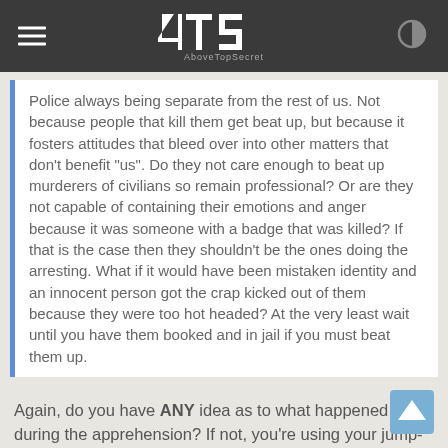ATS AboveTopSecret
Police always being separate from the rest of us. Not because people that kill them get beat up, but because it fosters attitudes that bleed over into other matters that don't benefit "us". Do they not care enough to beat up murderers of civilians so remain professional? Or are they not capable of containing their emotions and anger because it was someone with a badge that was killed? If that is the case then they shouldn't be the ones doing the arresting. What if it would have been mistaken identity and an innocent person got the crap kicked out of them because they were too hot headed? At the very least wait until you have them booked and in jail if you must beat them up.
Again, do you have ANY idea as to what happened during the apprehension? If not, you're using your jump-to-conclusions mat way too early in the game.
I couldn't help but chuckle when I say video of him on the news this morning, though--he was hurting.